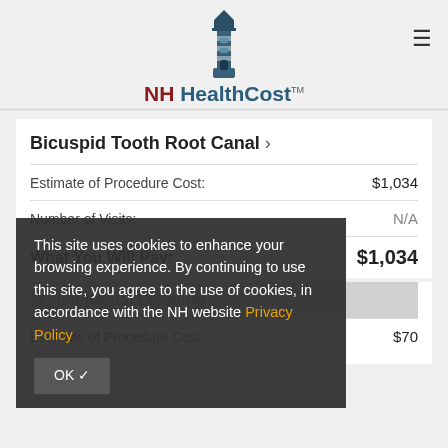NH HealthCost
Bicuspid Tooth Root Canal ›
|  |  |
| --- | --- |
| Estimate of Procedure Cost: | $1,034 |
| Number of Visits: | N/A |
| What You Will Pay: | $1,034 |
This site uses cookies to enhance your browsing experience. By continuing to use this site, you agree to the use of cookies, in accordance with the NH website Privacy Policy
Child Dental Cleaning ›
|  |  |
| --- | --- |
| Estimate of Procedure Cost: | $70 |